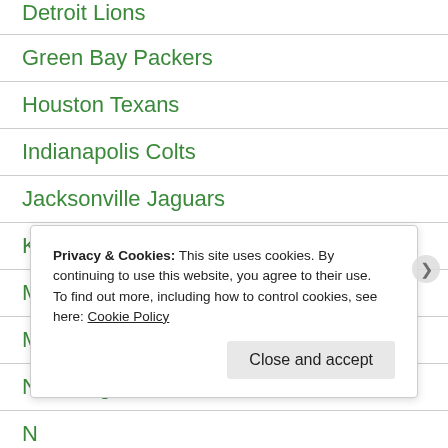Detroit Lions
Green Bay Packers
Houston Texans
Indianapolis Colts
Jacksonville Jaguars
Kansas City Chiefs
Miami Dolphins
Minnesota Vikings
New England Patriots
Privacy & Cookies: This site uses cookies. By continuing to use this website, you agree to their use. To find out more, including how to control cookies, see here: Cookie Policy
Close and accept